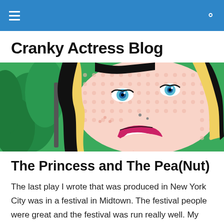Cranky Actress Blog – navigation bar
Cranky Actress Blog
[Figure (illustration): Pop-art style comic illustration of a woman with blonde hair and blue eyes applying lipstick, with a green background, rendered in Roy Lichtenstein dot-pattern style.]
The Princess and The Pea(Nut)
The last play I wrote that was produced in New York City was in a festival in Midtown. The festival people were great and the festival was run really well. My play was a short play, so I was paired up with another writer to make